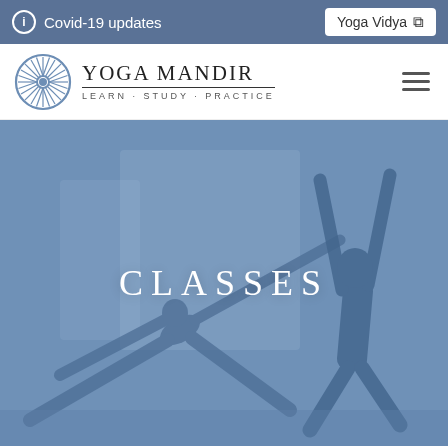ℹ Covid-19 updates | Yoga Vidya ↗
[Figure (logo): Yoga Mandir logo with dharma wheel and text YOGA MANDIR LEARN · STUDY · PRACTICE]
[Figure (photo): Photo of two yoga students performing a side stretch pose with arms raised, overlaid with a blue tint. The word CLASSES is displayed in white text in the center of the image.]